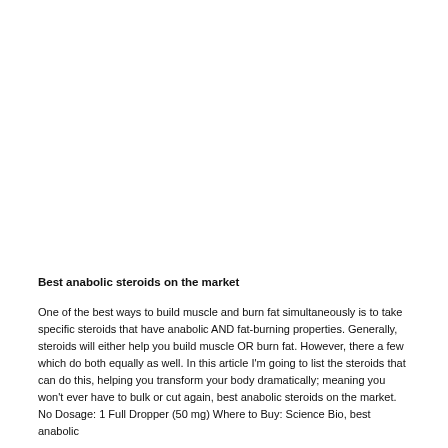Best anabolic steroids on the market
One of the best ways to build muscle and burn fat simultaneously is to take specific steroids that have anabolic AND fat-burning properties. Generally, steroids will either help you build muscle OR burn fat. However, there a few which do both equally as well. In this article I'm going to list the steroids that can do this, helping you transform your body dramatically; meaning you won't ever have to bulk or cut again, best anabolic steroids on the market. No Dosage: 1 Full Dropper (50 mg) Where to Buy: Science Bio, best anabolic